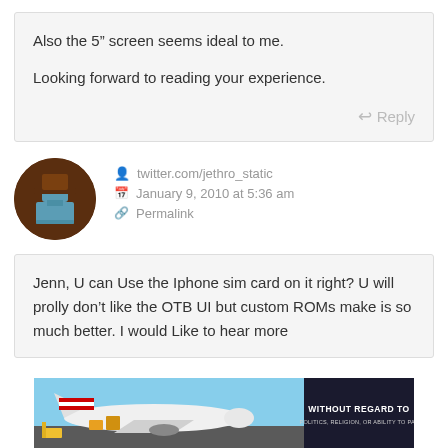Also the 5” screen seems ideal to me.

Looking forward to reading your experience.
Reply
[Figure (illustration): Pixel art avatar of a person in a circle, brown background with teal/blue figure]
twitter.com/jethro_static
January 9, 2010 at 5:36 am
Permalink
Jenn, U can Use the Iphone sim card on it right? U will prolly don’t like the OTB UI but custom ROMs make is so much better. I would Like to hear more
[Figure (photo): Advertisement banner showing an airplane being loaded with cargo, with text WITHOUT REGARD TO on the right side]